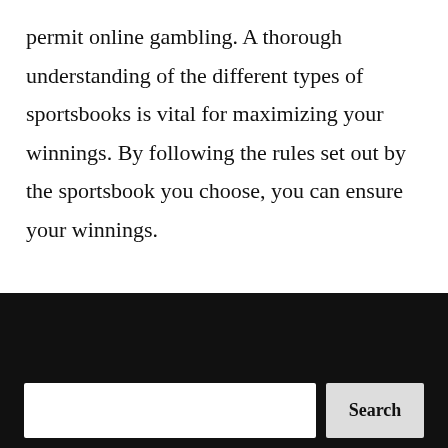permit online gambling. A thorough understanding of the different types of sportsbooks is vital for maximizing your winnings. By following the rules set out by the sportsbook you choose, you can ensure your winnings.
Search